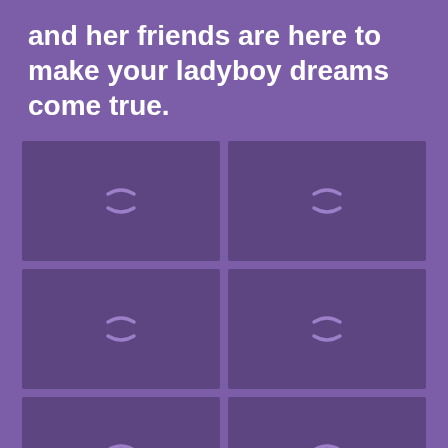and her friends are here to make your ladyboy dreams come true.
[Figure (other): 2x3 grid of image placeholders with loading spinner icons on a purple background]
[Figure (other): Image placeholder with loading spinner]
[Figure (other): Image placeholder with loading spinner]
[Figure (other): Image placeholder with loading spinner]
[Figure (other): Image placeholder with loading spinner]
[Figure (other): Image placeholder with loading spinner]
[Figure (other): Image placeholder with loading spinner]